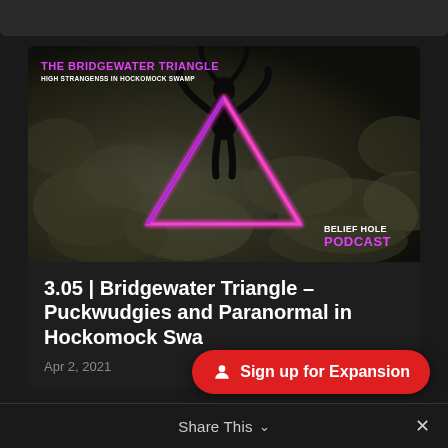[Figure (screenshot): Podcast episode card for Belief Hole Podcast showing 'The Bridgewater Triangle – High Strangenss in Hockomock Swamp' thumbnail with a dark forest aerial background, a neon pink/purple inverted triangle outline, and a dark silhouette figure with horns raised above the triangle. The podcast branding 'BELIEF HOLE PODCAST' appears in white and magenta at the bottom right of the image.]
3.05 | Bridgewater Triangle – Puckwudgies and Paranormal in Hockomock Swamp
Apr 2, 2021
Sign up for Expansion
Share This